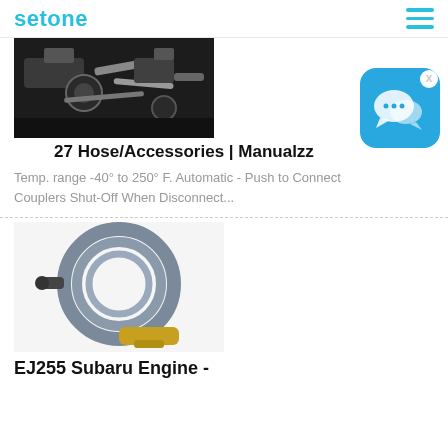setone
[Figure (photo): Engine bay photo showing hoses and mechanical components]
27 Hose/Accessories | Manualzz
Temp. range -40° to 250° F. Automatic - Push to Connect Couplers Shut-Off When Disconnect...
[Figure (illustration): Blue chat/messaging app icon with speech bubbles on rounded square background]
[Figure (photo): Grey pressure washer hose coiled in circle with yellow connector attachment]
EJ255 Subaru Engine -